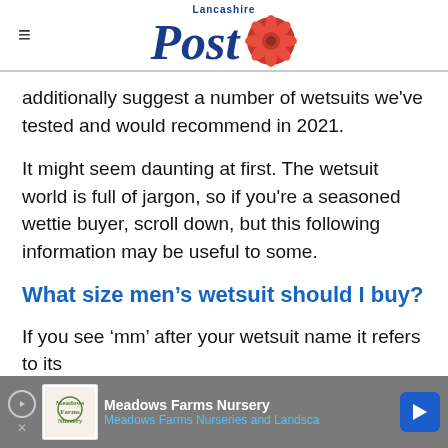Lancashire Post
additionally suggest a number of wetsuits we've tested and would recommend in 2021.
It might seem daunting at first. The wetsuit world is full of jargon, so if you're a seasoned wettie buyer, scroll down, but this following information may be useful to some.
What size men's wetsuit should I buy?
If you see 'mm' after your wetsuit name it refers to its
[Figure (other): Advertisement banner for Meadows Farms Nursery with logo and navigation arrow icon]